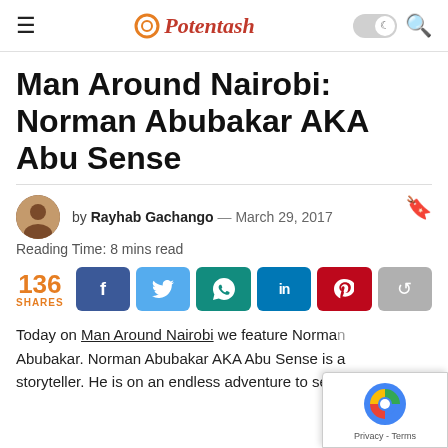Potentash
Man Around Nairobi: Norman Abubukar AKA Abu Sense
by Rayhab Gachango — March 29, 2017
Reading Time: 8 mins read
136 SHARES [social share buttons: Facebook, Twitter, WhatsApp, LinkedIn, Pinterest, Share]
Today on Man Around Nairobi we feature Norman Abubukar. Norman Abubukar AKA Abu Sense is a storyteller. He is on an endless adventure to self